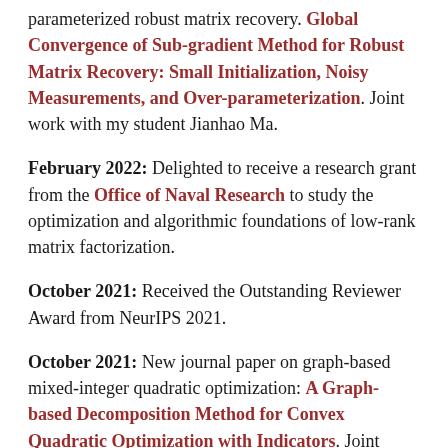parameterized robust matrix recovery. Global Convergence of Sub-gradient Method for Robust Matrix Recovery: Small Initialization, Noisy Measurements, and Over-parameterization. Joint work with my student Jianhao Ma.
February 2022: Delighted to receive a research grant from the Office of Naval Research to study the optimization and algorithmic foundations of low-rank matrix factorization.
October 2021: Received the Outstanding Reviewer Award from NeurIPS 2021.
October 2021: New journal paper on graph-based mixed-integer quadratic optimization: A Graph-based Decomposition Method for Convex Quadratic Optimization with Indicators. Joint work with Peijing Liu, Andres Gomez, and Simge Küçükyavuz.